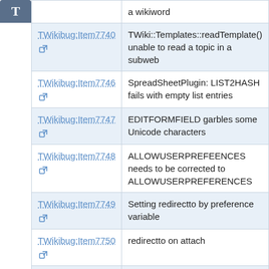| Bug ID | Description |
| --- | --- |
| TWikibug:Item7740 | TWiki::Templates::readTemplate() unable to read a topic in a subweb |
| TWikibug:Item7746 | SpreadSheetPlugin: LIST2HASH fails with empty list entries |
| TWikibug:Item7747 | EDITFORMFIELD garbles some Unicode characters |
| TWikibug:Item7748 | ALLOWUSERPREFEENCES needs to be corrected to ALLOWUSERPREFERENCES |
| TWikibug:Item7749 | Setting redirectto by preference variable |
| TWikibug:Item7750 | redirectto on attach |
| TWikibug:Item7752 | SERVERTIME is always identical to GMTIME |
| TWikibug:Item7757 | Edit script garbles some Unicode characters in form fields |
| TWikibug:Item7759 | EditTablePlugin: EditTablePlugin uses viewauth unnecessarily, brings down |